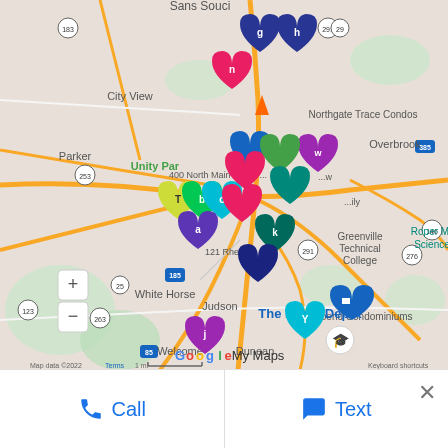[Figure (map): Google My Maps screenshot showing Greenville, SC area with multiple colored map pin markers labeled with letters (a-n, T, Y, w) clustered around the 400 North Main Street / 121 Rhett St area. Labels visible include: Sans Souci, City View, Parker, Unity Park, Northgate Trace Condos, Overbrook, Greenville Technical College, Roper Mountain Science, 400 North Main Street, 121 Rhett St, Riverbend Condominiums, Judson, Welcome, Dunean, White Horse, The Home Depot, Lakeside Park, Conestee. Road numbers: 183, 253, 123, 81, 25, 263, 185, 85, 291, 29, 385, 276, 146. Map data copyright 2022. Zoom controls (+/-) visible bottom left. Google My Maps branding. Scale bar: 1 mi.]
Call
Text